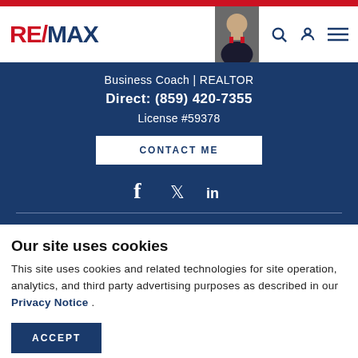[Figure (logo): RE/MAX logo with red RE and blue /MAX text]
[Figure (photo): Agent photo in suit and tie in top navigation]
Business Coach | REALTOR
Direct: (859) 420-7355
License #59378
CONTACT ME
[Figure (infographic): Social media icons: Facebook, Twitter, LinkedIn]
Our site uses cookies
This site uses cookies and related technologies for site operation, analytics, and third party advertising purposes as described in our Privacy Notice .
ACCEPT